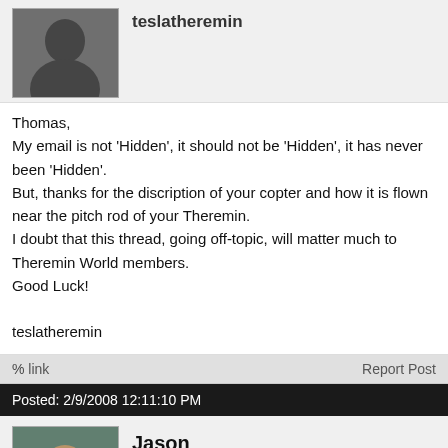teslatheremin
[Figure (photo): Black and white avatar photo of teslatheremin user]
Thomas,
My email is not 'Hidden', it should not be 'Hidden', it has never been 'Hidden'.
But, thanks for the discription of your copter and how it is flown near the pitch rod of your Theremin.
I doubt that this thread, going off-topic, will matter much to Theremin World members.
Good Luck!

teslatheremin
link   Report Post
Posted: 2/9/2008 12:11:10 PM
Jason
[Figure (photo): Color avatar photo of Jason user]
Yeah, we don't show anyone's e-maiol to help prevent spammers from sending you junk mail. It's a "feature" unfortunately.